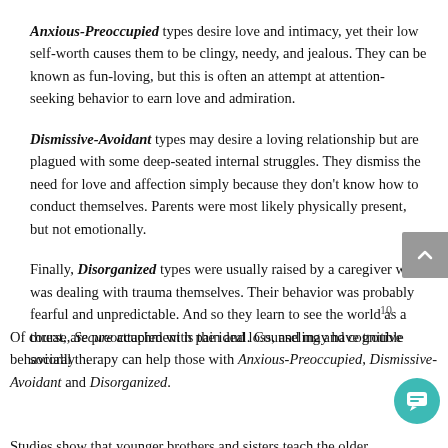Anxious-Preoccupied types desire love and intimacy, yet their low self-worth causes them to be clingy, needy, and jealous. They can be known as fun-loving, but this is often an attempt at attention-seeking behavior to earn love and admiration.
Dismissive-Avoidant types may desire a loving relationship but are plagued with some deep-seated internal struggles. They dismiss the need for love and affection simply because they don't know how to conduct themselves. Parents were most likely physically present, but not emotionally.
Finally, Disorganized types were usually raised by a caregiver who was dealing with trauma themselves. Their behavior was probably fearful and unpredictable. And so they learn to see the world as a threat, are preoccupied with pain and loss, and may have trouble socially .
Of course, Secure attachment is the ideal. Counseling and cognitive behavioral therapy can help those with Anxious-Preoccupied, Dismissive-Avoidant and Disorganized.
Studies show that younger brothers and sisters teach the older...